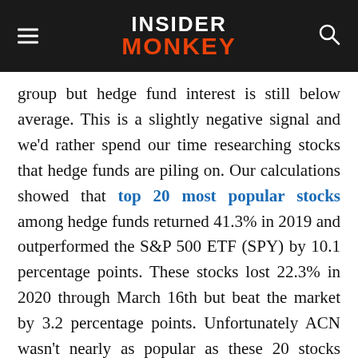INSIDER MONKEY
group but hedge fund interest is still below average. This is a slightly negative signal and we'd rather spend our time researching stocks that hedge funds are piling on. Our calculations showed that top 20 most popular stocks among hedge funds returned 41.3% in 2019 and outperformed the S&P 500 ETF (SPY) by 10.1 percentage points. These stocks lost 22.3% in 2020 through March 16th but beat the market by 3.2 percentage points. Unfortunately ACN wasn't nearly as popular as these 20 stocks (hedge fund sentiment was quite bearish); ACN investors were disappointed as the stock returned -27.3% during the same time period and underperformed the